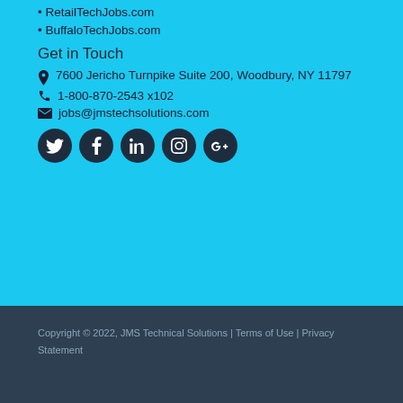RetailTechJobs.com
BuffaloTechJobs.com
Get in Touch
7600 Jericho Turnpike Suite 200, Woodbury, NY 11797
1-800-870-2543 x102
jobs@jmstechsolutions.com
[Figure (infographic): Row of five social media icons: Twitter, Facebook, LinkedIn, Instagram, Google+]
Copyright © 2022, JMS Technical Solutions | Terms of Use | Privacy Statement